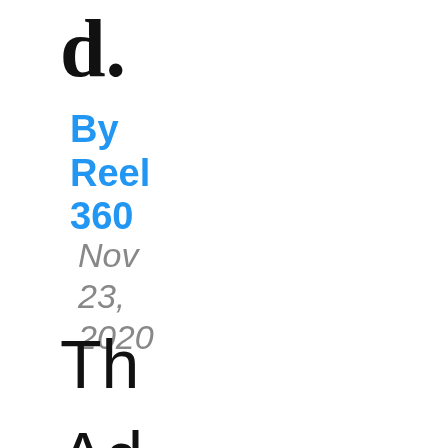d.
By Reel 360
Nov 23, 2020
Th
Ad
Co
a..